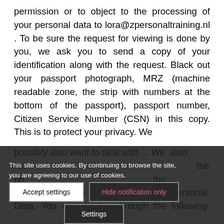permission or to object to the processing of your personal data to lora@zpersonaltraining.nl . To be sure the request for viewing is done by you, we ask you to send a copy of your identification along with the request. Black out your passport photograph, MRZ (machine readable zone, the strip with numbers at the bottom of the passport), passport number, Citizen Service Number (CSN) in this copy. This is to protect your privacy. We possibly also want to ... We also want to ... the processing ... the national supervisory ... Authority Personal Data. You can do this through the following
This site uses cookies. By continuing to browse the site, you are agreeing to our use of cookies.
Accept settings
Hide notification only
Settings